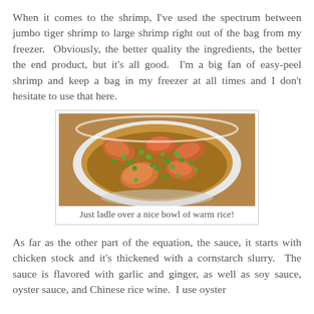When it comes to the shrimp, I've used the spectrum between jumbo tiger shrimp to large shrimp right out of the bag from my freezer.  Obviously, the better quality the ingredients, the better the end product, but it's all good.  I'm a big fan of easy-peel shrimp and keep a bag in my freezer at all times and I don't hesitate to use that here.
[Figure (photo): A white bowl filled with cooked shrimp and green peas in a brown sauce, served over rice.]
Just ladle over a nice bowl of warm rice!
As far as the other part of the equation, the sauce, it starts with chicken stock and it's thickened with a cornstarch slurry.  The sauce is flavored with garlic and ginger, as well as soy sauce, oyster sauce, and Chinese rice wine.  I use oyster